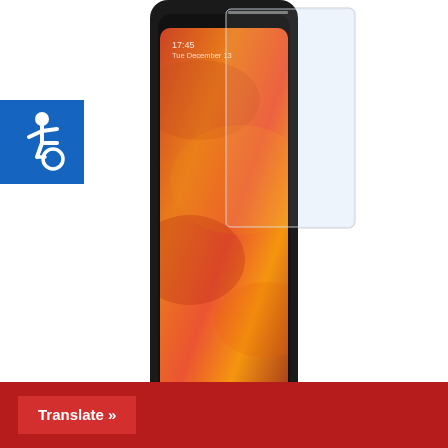[Figure (photo): Product photo showing a Samsung Galaxy smartphone with a tempered glass screen protector partially applied, displayed against white background. Phone shows a colorful wallpaper with orange/red tones. Time displayed is 17:45, Tuesday December 13.]
[Figure (logo): Blue square accessibility icon (wheelchair symbol) in the top-left area of the page.]
Tempered Glass For Samsung Galaxy J3 2018
€6,90
Translate »